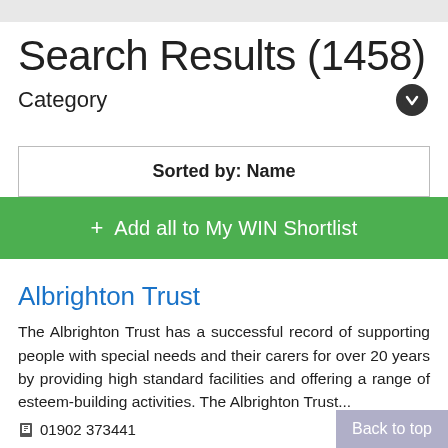Search Results (1458)
Category
Sorted by: Name
+ Add all to My WIN Shortlist
Albrighton Trust
The Albrighton Trust has a successful record of supporting people with special needs and their carers for over 20 years by providing high standard facilities and offering a range of esteem-building activities.  The Albrighton Trust...
01902 373441